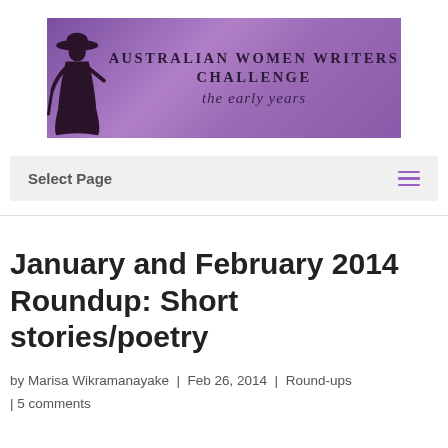[Figure (logo): Australian Women Writers Challenge banner with purple background, silhouette of woman in hat, text 'AUSTRALIAN WOMEN WRITERS CHALLENGE' and cursive 'the early years']
Select Page
January and February 2014 Roundup: Short stories/poetry
by Marisa Wikramanayake | Feb 26, 2014 | Round-ups | 5 comments
We are a lyrical bunch.